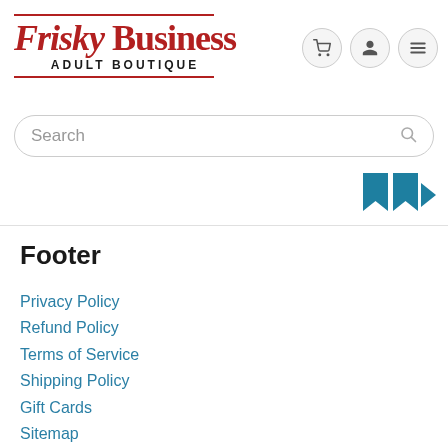[Figure (logo): Frisky Business Adult Boutique logo with red serif text and double horizontal lines above and below]
[Figure (infographic): Three circular navigation icon buttons: shopping cart, user profile, hamburger menu]
Search
[Figure (illustration): Teal/dark cyan bookmark-style ribbon icons in top right of banner strip]
Footer
Privacy Policy
Refund Policy
Terms of Service
Shipping Policy
Gift Cards
Sitemap
Do not sell my personal information